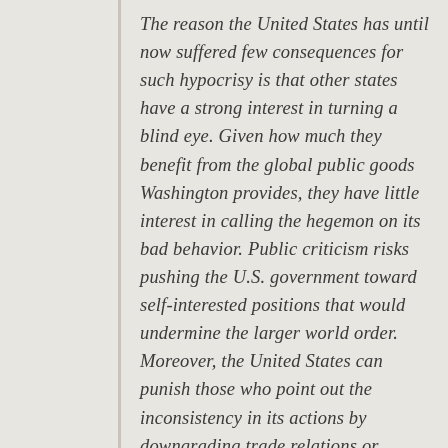The reason the United States has until now suffered few consequences for such hypocrisy is that other states have a strong interest in turning a blind eye. Given how much they benefit from the global public goods Washington provides, they have little interest in calling the hegemon on its bad behavior. Public criticism risks pushing the U.S. government toward self-interested positions that would undermine the larger world order. Moreover, the United States can punish those who point out the inconsistency in its actions by downgrading trade relations or through other forms of direct retaliation. Allies thus usually air their concerns in private. Adversaries may point fingers, but few can convincingly occupy the moral high ground. Complaints by China and